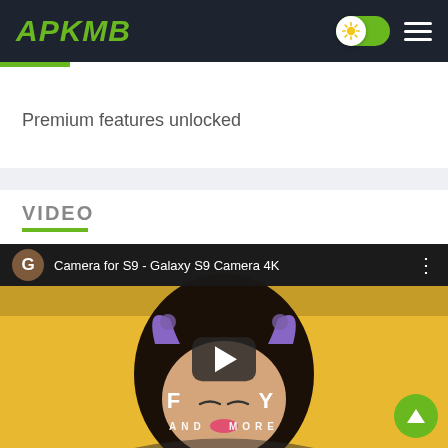APKMB
Premium features unlocked
VIDEO
[Figure (screenshot): YouTube-style video player showing Camera for S9 - Galaxy S9 Camera 4K, with a play button overlay on a thumbnail featuring a girl with cat ears on a yellow background, with text F Y AND MORE visible]